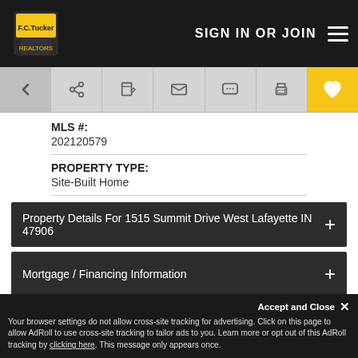[Figure (screenshot): F.C. Tucker real estate website header with logo, SIGN IN OR JOIN text, and hamburger menu on black background]
[Figure (other): Toolbar with back arrow, share, edit, email, chat, print, and heart/favorite icons on gray background]
MLS #:
202120579
PROPERTY TYPE:
Site-Built Home
Property Details For 1515 Summit Drive West Lafayette IN 47906
Mortgage / Financing Information
Rooms
Your browser settings do not allow cross-site tracking for advertising. Click on this page to allow AdRoll to use cross-site tracking to tailor ads to you. Learn more or opt out of this AdRoll tracking by clicking here. This message only appears once.